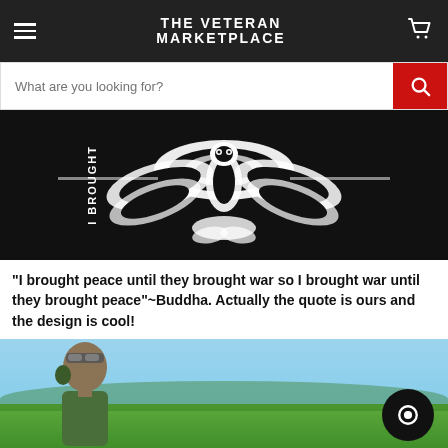THE VETERAN MARKETPLACE
[Figure (screenshot): Search bar with placeholder text 'What are you looking for?' and red search button]
[Figure (photo): Product image on black background showing a stylized eagle/moth design with text 'I BROUGHT' on left and 'HIT PEACE' on right]
"I brought peace until they brought war so I brought war until they brought peace"~Buddha. Actually the quote is ours and the design is cool!
[Figure (photo): Outdoor photo of a person wearing tactical gear with goggles, green grass and trees in background; chat bubble icon in bottom right corner]